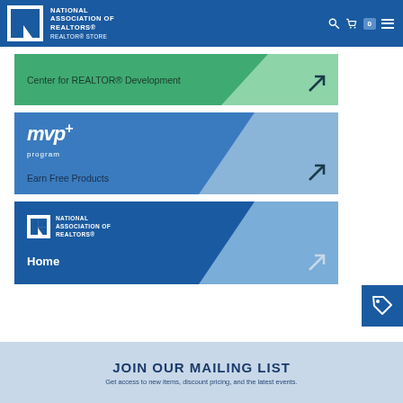NATIONAL ASSOCIATION OF REALTORS® REALTOR® STORE
[Figure (screenshot): Green banner: Center for REALTOR® Development with arrow]
[Figure (screenshot): Blue banner: mvp+ program, Earn Free Products with arrow]
[Figure (screenshot): Dark blue banner: National Association of Realtors® Home with arrow]
[Figure (infographic): Blue tag/price icon]
JOIN OUR MAILING LIST
Get access to new items, discount pricing, and the latest events.